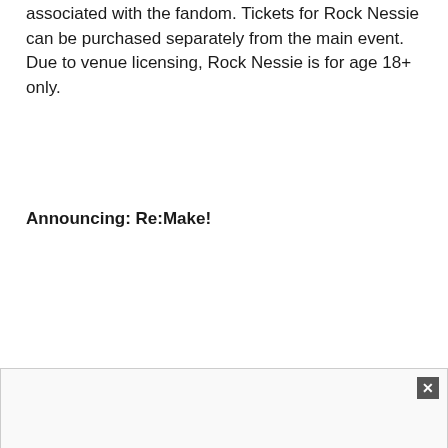associated with the fandom. Tickets for Rock Nessie can be purchased separately from the main event. Due to venue licensing, Rock Nessie is for age 18+ only.
Announcing: Re:Make!
[Figure (other): Advertisement box with close button (X) in bottom portion of page]